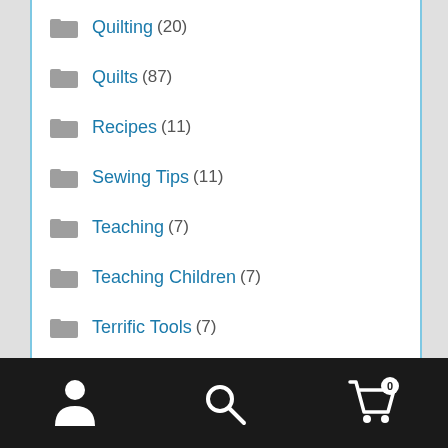Quilting (20)
Quilts (87)
Recipes (11)
Sewing Tips (11)
Teaching (7)
Teaching Children (7)
Terrific Tools (7)
Tips (32)
Tips & Lessons (42)
Tools (21)
Travels (57)
Uncategorized (1)